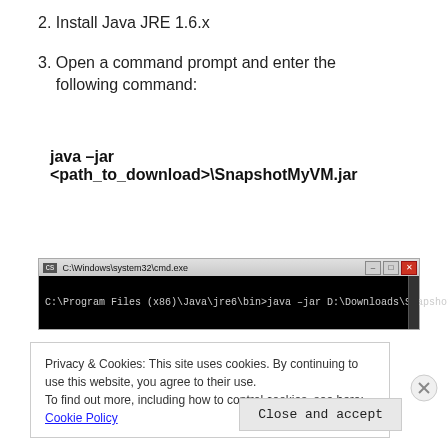2. Install Java JRE 1.6.x
3. Open a command prompt and enter the following command:
java –jar
<path_to_download>\SnapshotMyVM.jar
[Figure (screenshot): Windows command prompt showing: C:\Program Files (x86)\Java\jre6\bin>java –jar D:\Downloads\SnapshotMyVM.jar_]
Privacy & Cookies: This site uses cookies. By continuing to use this website, you agree to their use.
To find out more, including how to control cookies, see here: Cookie Policy
Close and accept